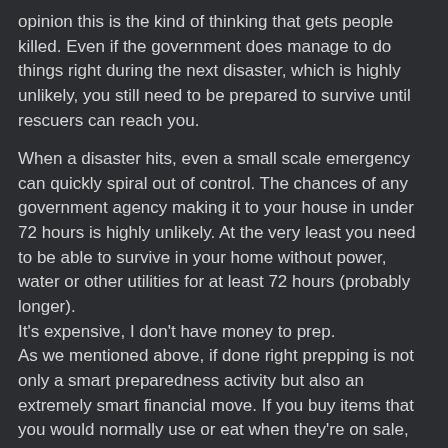opinion this is the kind of thinking that gets people killed. Even if the government does manage to do things right during the next disaster, which is highly unlikely, you still need to be prepared to survive until rescuers can reach you.
When a disaster hits, even a small scale emergency can quickly spiral out of control. The chances of any government agency making it to your house in under 72 hours is highly unlikely. At the very least you need to be able to survive in your home without power, water or other utilities for at least 72 hours (probably longer).
It's expensive, I don't have money to prep.
As we mentioned above, if done right prepping is not only a smart preparedness activity but also an extremely smart financial move. If you buy items that you would normally use or eat when they're on sale, how is that a waste of money?
And for those that really are having a hard time with money there's still a number of things you can do to prep:
Shop smart – You don't have to become an